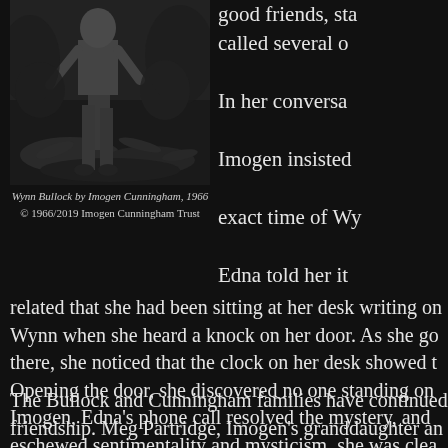[Figure (photo): Black and white photograph of Wynn Bullock, taken by Imogen Cunningham in 1966. Shows a person outdoors among foliage.]
Wynn Bullock by Imogen Cunningham, 1966
© 1966/2019 Imogen Cunningham Trust
good friends, sta called several o In her conversa Imogen insisted exact time of Wy Edna told her it related that she had been sitting at her desk writing on Wynn when she heard a knock on her door. As she go there, she noticed that the clock on her desk showed t Opening the door, she discovered no one standing on Imogen, Edna's phone call resolved the mystery, and eschewed sentimentality and mysticism, she was clea experience meant to her.
The Bullock and Cunningham families have continued friendship. Meg Partridge, Imogen's granddaughter an Imogen Cunningham Trust, and I keep in contact and moral support as we navigate the management of ou